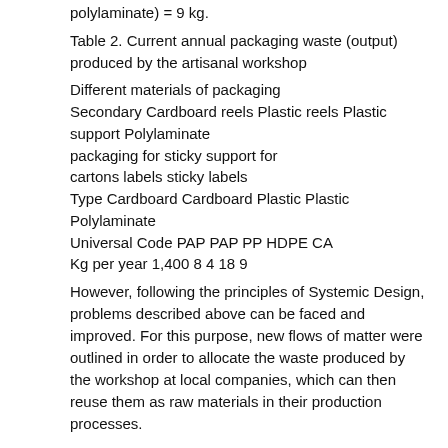polylaminate) = 9 kg.
Table 2. Current annual packaging waste (output) produced by the artisanal workshop
| Secondary packaging for cartons | Cardboard reels labels | Plastic reels sticky support for sticky labels | Plastic support | Polylaminate |
| --- | --- | --- | --- | --- |
| Type | Cardboard | Cardboard | Plastic | Plastic | Polylaminate |
| Universal Code | PAP | PAP | PP | HDPE | CA |
| Kg per year | 1,400 | 8 | 4 | 18 | 9 |
However, following the principles of Systemic Design, problems described above can be faced and improved. For this purpose, new flows of matter were outlined in order to allocate the waste produced by the workshop at local companies, which can then reuse them as raw materials in their production processes.